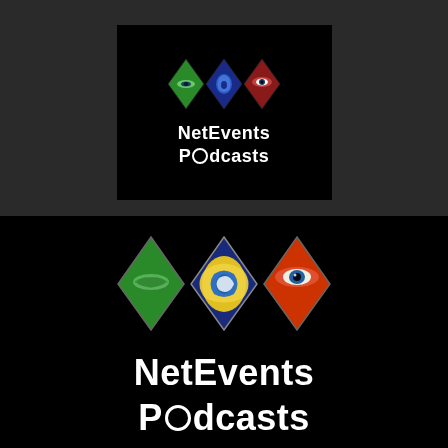[Figure (logo): NetEvents Podcasts logo small version: three diamond shapes (green with eye, blue/yellow with ear, red with eye) pointing upward arranged in a row on black background, with 'NetEvents Podcasts' text below in white.]
[Figure (logo): NetEvents Podcasts logo large version: three diamond shapes pointing downward (green with lips, blue/yellow with swirl/ear, red/orange with eye) on black background, with large 'NetEvents Podcasts' text below in white.]